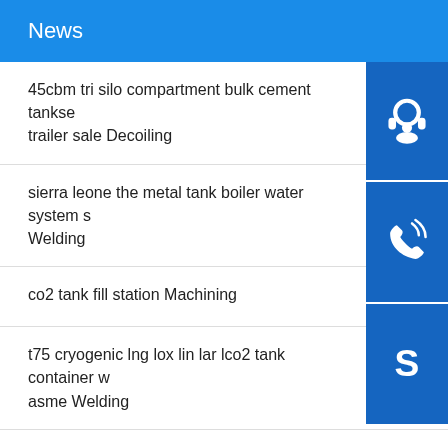News
45cbm tri silo compartment bulk cement tankse trailer sale Decoiling
sierra leone the metal tank boiler water system Welding
co2 tank fill station Machining
t75 cryogenic lng lox lin lar lco2 tank container with asme Welding
200l 300l water cooling ice sealed storage tanks price Grinding
water tank tarpaulin pvc tarpaulin pool fish pond Plasma welding